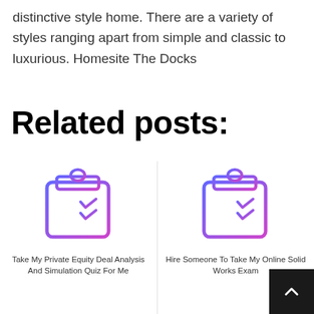distinctive style home. There are a variety of styles ranging apart from simple and classic to luxurious. Homesite The Docks
Related posts:
[Figure (illustration): Clipboard icon with checklist and checkmarks, blue to purple gradient outline style]
Take My Private Equity Deal Analysis And Simulation Quiz For Me
[Figure (illustration): Clipboard icon with checklist and checkmarks, blue to purple gradient outline style]
Hire Someone To Take My Online Solid Works Exam